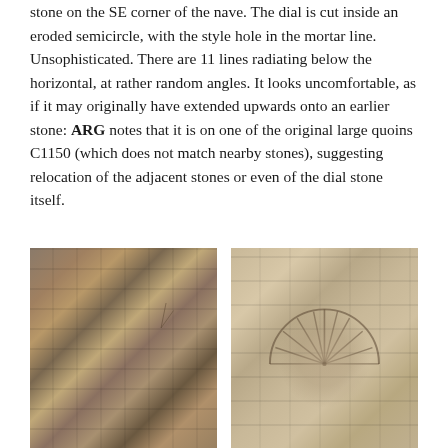stone on the SE corner of the nave. The dial is cut inside an eroded semicircle, with the style hole in the mortar line. Unsophisticated. There are 11 lines radiating below the horizontal, at rather random angles. It looks uncomfortable, as if it may originally have extended upwards onto an earlier stone: ARG notes that it is on one of the original large quoins C1150 (which does not match nearby stones), suggesting relocation of the adjacent stones or even of the dial stone itself.
[Figure (photo): Left photo: close-up of a stone wall with mixed flint and dressed stone blocks, showing varied textures and a partially visible scratch mark or sundial line near the bottom right]
[Figure (photo): Right photo: close-up of a dressed stone quoin showing a carved semicircular sundial with radiating lines, set within surrounding stone coursing]